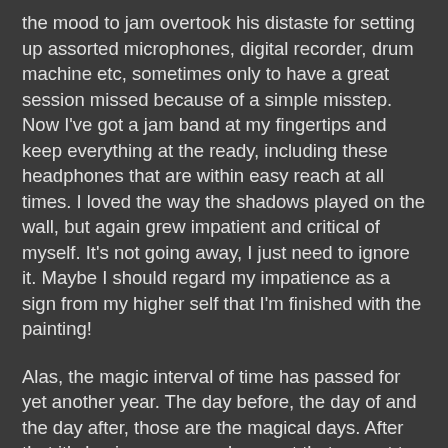the mood to jam overtook his distaste for setting up assorted microphones, digital recorder, drum machine etc, sometimes only to have a great session missed because of a simple misstep. Now I've got a jam band at my fingertips and keep everything at the ready, including these headphones that are within easy reach at all times. I loved the way the shadows played on the wall, but again grew impatient and critical of myself. It's not going away, I just need to ignore it. Maybe I should regard my impatience as a sign from my higher self that I'm finished with the painting!
Alas, the magic interval of time has passed for yet another year. The day before, the day of and the day after, those are the magical days. After that it's business as usual, except that we get to do a repeat this coming weekend. But, then the stark reality of another shiny new year, another chance to start anew has arrived, hasn't it? The wondering whether or not you're going to stick to your promised goals and planned achievements begins and the inevitable darkness of doubt descends. Thinking I'm far too cool to write a list of New Year's resolutions I'll never keep, I begin making one almost immediately after that thought leaves my awareness. The